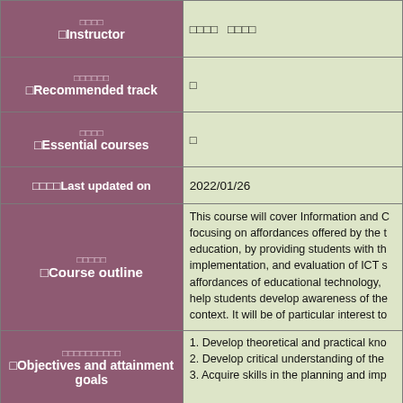| Field | Value |
| --- | --- |
| [CJK] Instructor | [CJK] [CJK] |
| [CJK] Recommended track | [CJK] |
| [CJK] Essential courses | [CJK] |
| [CJK] Last updated on | 2022/01/26 |
| [CJK] Course outline | This course will cover Information and C... focusing on affordances offered by the t... education, by providing students with th... implementation, and evaluation of ICT s... affordances of educational technology, ... help students develop awareness of the... context. It will be of particular interest to... |
| [CJK] Objectives and attainment goals | 1. Develop theoretical and practical kno...
2. Develop critical understanding of the...
3. Acquire skills in the planning and imp... |
|  | 1. Introduction to ICT in Education
   a. Homework:
      i. Online Reading
      ii. Quiz 1 (8%)
2. History of ICT in Education
   a. Homework:
      i. Online Reading
      ii. Quiz 2 (8%)
3. Synchronous/Asynchronous
   a. Homework:
      i. Online Reading... |